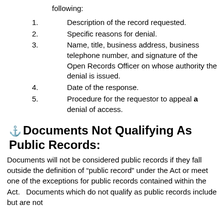following:
1.    Description of the record requested.
2.    Specific reasons for denial.
3.    Name, title, business address, business telephone number, and signature of the Open Records Officer on whose authority the denial is issued.
4.    Date of the response.
5.    Procedure for the requestor to appeal a denial of access.
⚓ Documents Not Qualifying As Public Records:
Documents will not be considered public records if they fall outside the definition of “public record” under the Act or meet one of the exceptions for public records contained within the Act.   Documents which do not qualify as public records include but are not